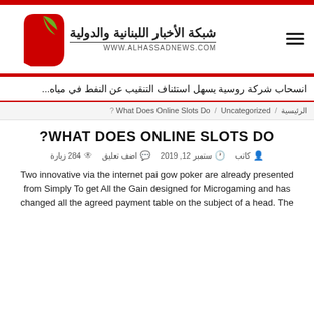[Figure (logo): Al Hassad News logo with red and green leaf/flame SVG icon, Arabic text 'شبكة الأخبار اللبنانية والدولية' and URL 'WWW.ALHASSADNEWS.COM']
انسحاب شركة روسية يسهل استئناف التنقيب عن النفط في مياه...
الرئيسية / What Does Online Slots Do / Uncategorized /
?WHAT DOES ONLINE SLOTS DO
كاتب  ستمبر 12, 2019  اضف تعليق  284 زيارة
Two innovative via the internet pai gow poker are already presented from Simply To get All the Gain designed for Microgaming and has changed all the agreed payment table on the subject of a head. The